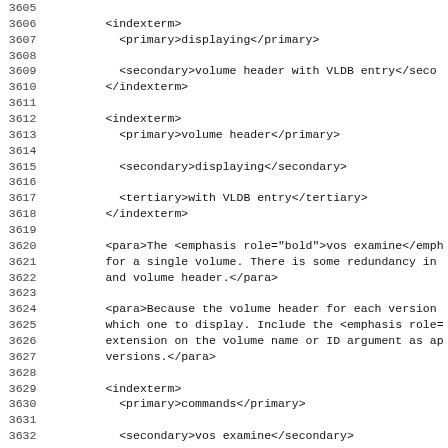Code listing showing XML lines 3605-3636 with indexterm, para, primary, secondary, tertiary elements